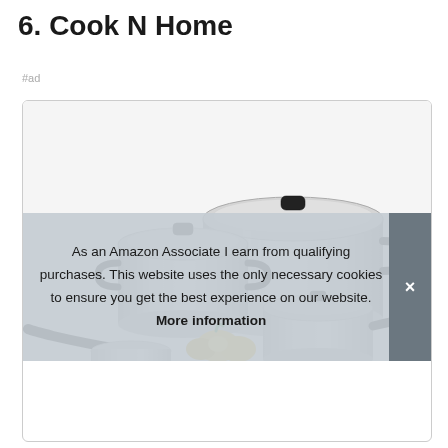6. Cook N Home
#ad
[Figure (photo): Product photo of Cook N Home stainless steel cookware set with glass lids and black handles, displayed with some vegetables]
As an Amazon Associate I earn from qualifying purchases. This website uses the only necessary cookies to ensure you get the best experience on our website. More information